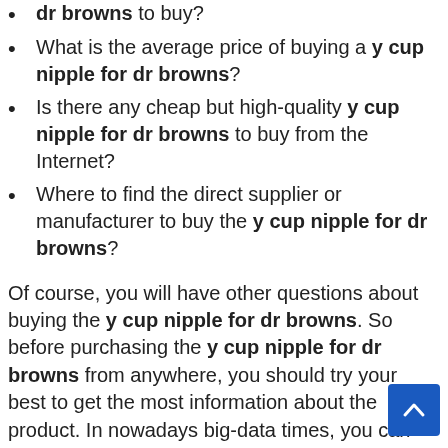dr browns to buy?
What is the average price of buying a y cup nipple for dr browns?
Is there any cheap but high-quality y cup nipple for dr browns to buy from the Internet?
Where to find the direct supplier or manufacturer to buy the y cup nipple for dr browns?
Of course, you will have other questions about buying the y cup nipple for dr browns. So before purchasing the y cup nipple for dr browns from anywhere, you should try your best to get the most information about the product. In nowadays big-data times, you can find them all over the Internet.